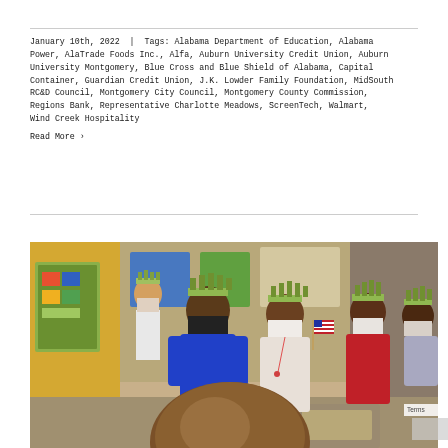January 10th, 2022  |  Tags: Alabama Department of Education, Alabama Power, AlaTrade Foods Inc., Alfa, Auburn University Credit Union, Auburn University Montgomery, Blue Cross and Blue Shield of Alabama, Capital Container, Guardian Credit Union, J.K. Lowder Family Foundation, MidSouth RC&D Council, Montgomery City Council, Montgomery County Commission, Regions Bank, Representative Charlotte Meadows, ScreenTech, Walmart, Wind Creek Hospitality
Read More ›
[Figure (photo): Children in a classroom wearing Statue of Liberty crowns and face masks, some holding small American flags. The photo shows an elementary school classroom setting.]